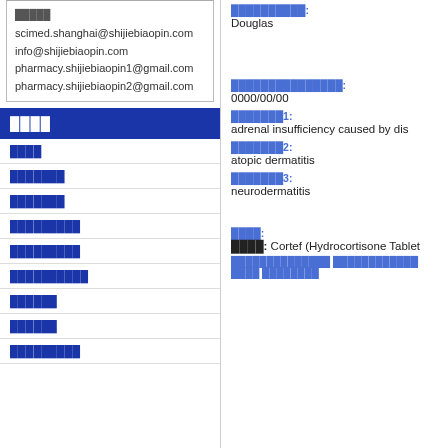scimed.shanghai@shijiebiaopin.com
info@shijiebiaopin.com
pharmacy.shijiebiaopin1@gmail.com
pharmacy.shijiebiaopin2@gmail.com
████
████
███████
███████
█████████
█████████
██████████
██████
██████
█████████
██████████:
Douglas
███████████████:
0000/00/00
███████1:
adrenal insufficiency caused by dis
███████2:
atopic dermatitis
███████3:
neurodermatitis
████:
████: Cortef (Hydrocortisone Tablet
██████████████ ████████████ ████ ████████